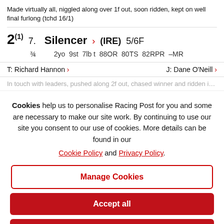Made virtually all, niggled along over 1f out, soon ridden, kept on well final furlong (tchd 16/1)
2 (1)  7.  Silencer > (IRE) 5/6F
¾   2yo  9st  7lb t  88OR  80TS  82RPR  –MR
T: Richard Hannon >   J: Dane O'Neill >
In touch with leaders, pushed along 2f out, chased winner and ridden inside
Cookies help us to personalise Racing Post for you and some are necessary to make our site work. By continuing to use our site you consent to our use of cookies. More details can be found in our Cookie Policy and Privacy Policy.
Manage Cookies
Accept all
Decline All